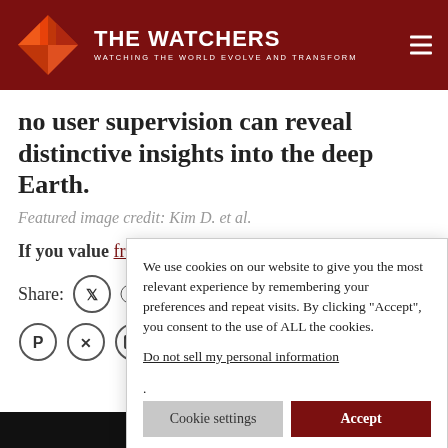THE WATCHERS — WATCHING THE WORLD EVOLVE AND TRANSFORM
no user supervision can reveal distinctive insights into the deep Earth.
Featured image credit: Kim D. et al.
If you value... free accou...
Share:
We use cookies on our website to give you the most relevant experience by remembering your preferences and repeat visits. By clicking "Accept", you consent to the use of ALL the cookies.
Do not sell my personal information.